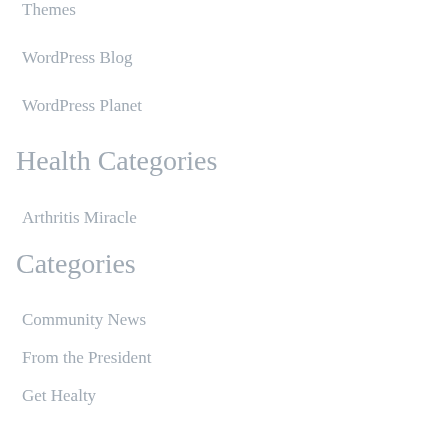Themes
WordPress Blog
WordPress Planet
Health Categories
Arthritis Miracle
Categories
Community News
From the President
Get Healty
Health News
Longevity
Uncategorized
Archives
March 2014